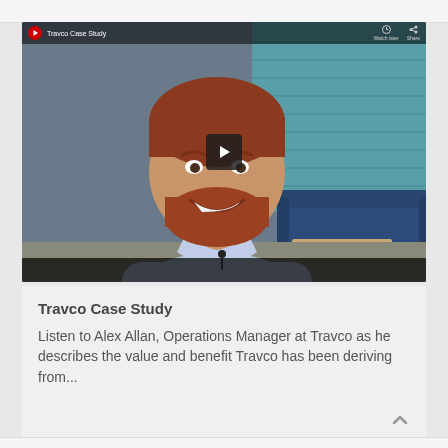[Figure (screenshot): YouTube-style video thumbnail showing a man with red beard in a light blue shirt, sitting and smiling, with teal blinds and blue sofa in background. Video title bar reads 'Travco Case Study' with watch later and share icons. A dark play button is centered on the video.]
Travco Case Study
Listen to Alex Allan, Operations Manager at Travco as he describes the value and benefit Travco has been deriving from...